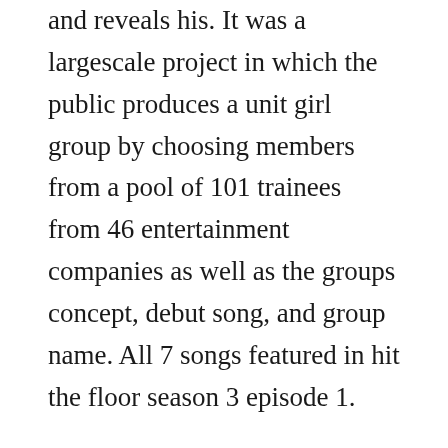and reveals his. It was a largescale project in which the public produces a unit girl group by choosing members from a pool of 101 trainees from 46 entertainment companies as well as the groups concept, debut song, and group name. All 7 songs featured in hit the floor season 3 episode 1.
Watch the latest episodes of this is us or get episode details on. Download titans season 1 dual audio hindienglish 480p. The masked singer all episodes streaming free on fox. This collection is produced by netflix based mostly on motion, journey, drama. Katie lee and